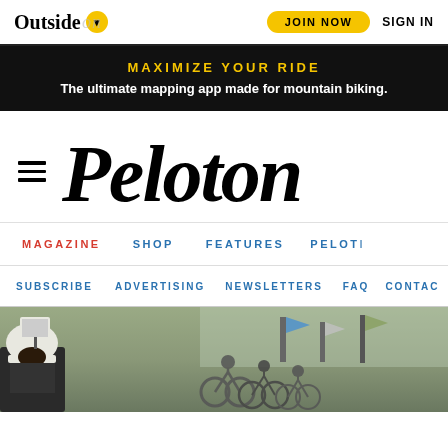Outside [chevron] Peloton | JOIN NOW | SIGN IN
[Figure (infographic): Advertisement banner with black background: 'MAXIMIZE YOUR RIDE' in gold uppercase, 'The ultimate mapping app made for mountain biking.' in white bold]
Peloton
MAGAZINE  SHOP  FEATURES  PELOT(ON)
SUBSCRIBE  ADVERTISING  NEWSLETTERS  FAQ  CONTACT
[Figure (photo): Photograph of cyclists at the start line of a race, with a person in white helmet visible on the left, multiple bicycles lined up in the middle ground, and flags/banners in the background. Scene appears to be outdoors with green grass background.]